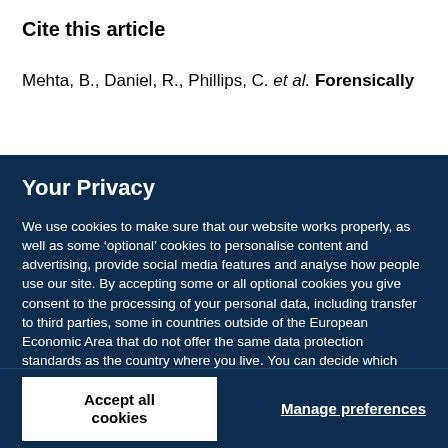Cite this article
Mehta, B., Daniel, R., Phillips, C. et al. Forensically
Your Privacy
We use cookies to make sure that our website works properly, as well as some ‘optional’ cookies to personalise content and advertising, provide social media features and analyse how people use our site. By accepting some or all optional cookies you give consent to the processing of your personal data, including transfer to third parties, some in countries outside of the European Economic Area that do not offer the same data protection standards as the country where you live. You can decide which optional cookies to accept by clicking on ‘Manage Settings’, where you can also find more information about how your personal data is processed. Further information can be found in our privacy policy.
Accept all cookies
Manage preferences